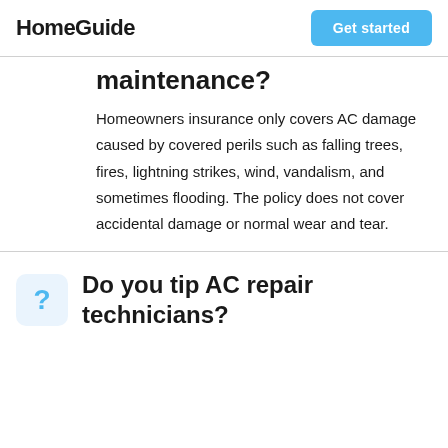HomeGuide
maintenance?
Homeowners insurance only covers AC damage caused by covered perils such as falling trees, fires, lightning strikes, wind, vandalism, and sometimes flooding. The policy does not cover accidental damage or normal wear and tear.
Do you tip AC repair technicians?